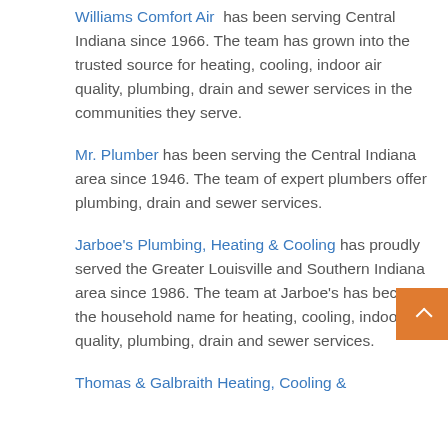Williams Comfort Air has been serving Central Indiana since 1966. The team has grown into the trusted source for heating, cooling, indoor air quality, plumbing, drain and sewer services in the communities they serve.
Mr. Plumber has been serving the Central Indiana area since 1946. The team of expert plumbers offer plumbing, drain and sewer services.
Jarboe's Plumbing, Heating & Cooling has proudly served the Greater Louisville and Southern Indiana area since 1986. The team at Jarboe's has become the household name for heating, cooling, indoor air quality, plumbing, drain and sewer services.
Thomas & Galbraith Heating, Cooling &...